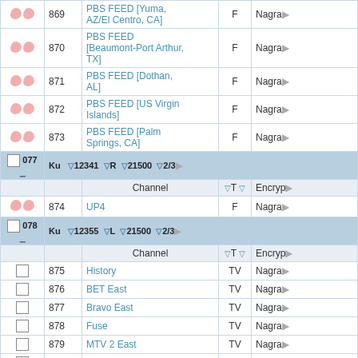|  | Ch | Channel | T | Encryption |
| --- | --- | --- | --- | --- |
| icons | 869 | PBS FEED [Yuma, AZ/El Centro, CA] | F | Nagra... |
| icons | 870 | PBS FEED [Beaumont-Port Arthur, TX] | F | Nagra... |
| icons | 871 | PBS FEED [Dothan, AL] | F | Nagra... |
| icons | 872 | PBS FEED [US Virgin Islands] | F | Nagra... |
| icons | 873 | PBS FEED [Palm Springs, CA] | F | Nagra... |
| sat | 077 | Ku 12341 R 21500 2/3 |  |  |
| subhdr |  | Channel | T | Encryp... |
| icons | 874 | UP4 | F | Nagra... |
| sat | 078 | Ku 12355 L 21500 2/3 |  |  |
| subhdr |  | Channel | T | Encryp... |
| checkbox | 875 | History | TV | Nagra... |
| checkbox | 876 | BET East | TV | Nagra... |
| checkbox | 877 | Bravo East | TV | Nagra... |
| checkbox | 878 | Fuse | TV | Nagra... |
| checkbox | 879 | MTV 2 East | TV | Nagra... |
| checkbox | 880 | ABC Family | TV | Nagra... |
| checkbox | 881 | Animal Planet USA | TV | Nagra... |
| icons | 882 | Tru TV | TV | Nagra... |